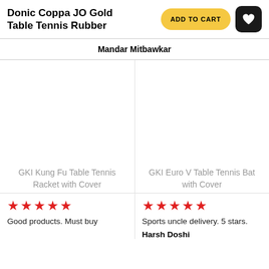Donic Coppa JO Gold Table Tennis Rubber
Mandar Mitbawkar
GKI Kung Fu Table Tennis Racket with Cover
GKI Euro V Table Tennis Bat with Cover
Good products. Must buy
Sports uncle delivery. 5 stars.
Harsh Doshi